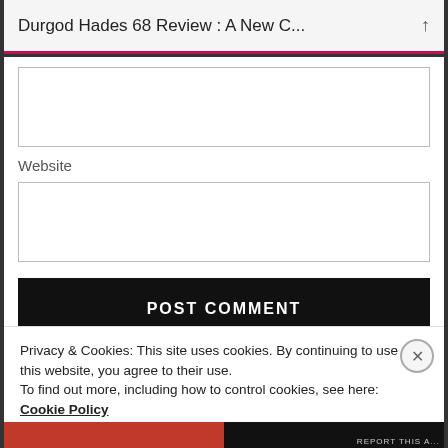Durgod Hades 68 Review : A New C...
[Figure (screenshot): Empty text input box (comment or name field)]
Website
[Figure (screenshot): Empty website URL input box]
POST COMMENT
Notify me of new comments via email
Privacy & Cookies: This site uses cookies. By continuing to use this website, you agree to their use.
To find out more, including how to control cookies, see here: Cookie Policy
Close and accept